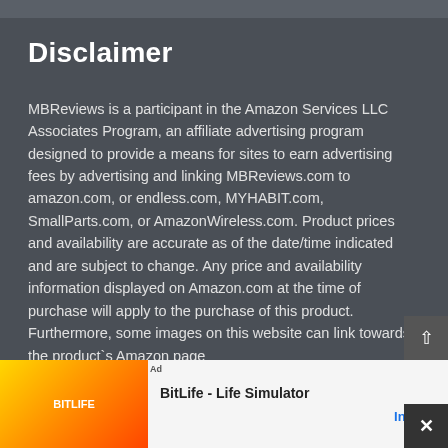Disclaimer
MBReviews is a participant in the Amazon Services LLC Associates Program, an affiliate advertising program designed to provide a means for sites to earn advertising fees by advertising and linking MBReviews.com to amazon.com, or endless.com, MYHABIT.com, SmallParts.com, or AmazonWireless.com. Product prices and availability are accurate as of the date/time indicated and are subject to change. Any price and availability information displayed on Amazon.com at the time of purchase will apply to the purchase of this product. Furthermore, some images on this website can link towards the product`s Amazon page
[Figure (other): Advertisement banner for BitLife - Life Simulator app with Install button]